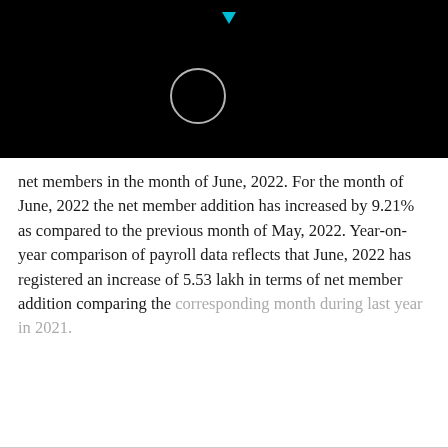[Figure (screenshot): Black header area with a circular loading spinner outline and a small cyan downward-pointing triangle at the top center]
net members in the month of June, 2022. For the month of June, 2022 the net member addition has increased by 9.21% as compared to the previous month of May, 2022. Year-on-year comparison of payroll data reflects that June, 2022 has registered an increase of 5.53 lakh in terms of net member addition comparing the corresponding month during last year in 2021.
Out of the total 18.56 lakh members added during the
CONTINUE READING